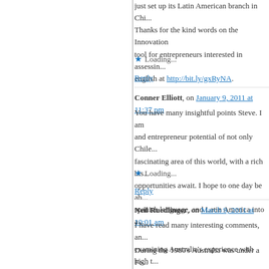just set up its Latin American branch in Chi... Thanks for the kind words on the Innovation tool for entrepreneurs interested in assessin... english at http://bit.ly/gxRyNA.
★ Loading...
Reply
Conner Elliott, on January 9, 2011 at 11:37 pm
You have many insightful points Steve. I am... and entrepreneur potential of not only Chile... fascinating area of this world, with a rich his... opportunities await. I hope to one day be ab... spanish language, and Latin America into a...
★ Loading...
Reply
Neil Ruedlinger, on March 9, 2011 at 10:01 am
I have read many interesting comments, an... examining Australia's experience with high t...
During the 1980's Australia was under a Fe... and they implemented generous business t...